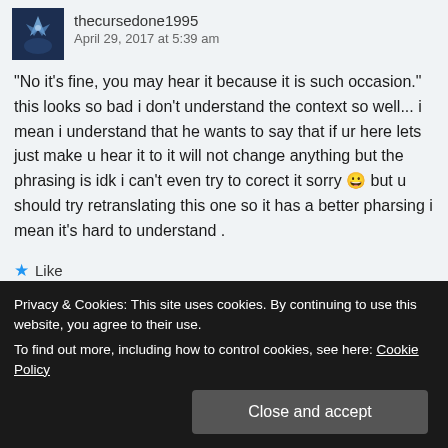thecursedone1995
April 29, 2017 at 5:39 am
“No it’s fine, you may hear it because it is such occasion.” this looks so bad i don’t understand the context so well... i mean i understand that he wants to say that if ur here lets just make u hear it to it will not change anything but the phrasing is idk i can’t even try to corect it sorry 😀 but u should try retranslating this one so it has a better pharsing i mean it’s hard to understand .
★ Like
Privacy & Cookies: This site uses cookies. By continuing to use this website, you agree to their use.
To find out more, including how to control cookies, see here: Cookie Policy
Close and accept